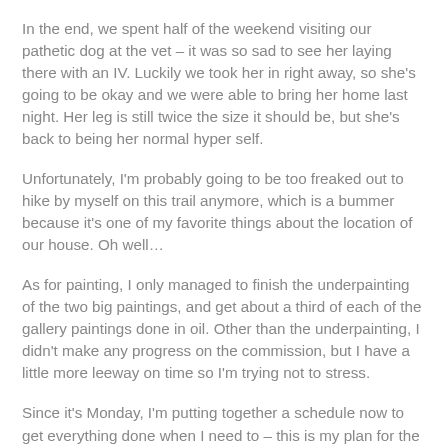In the end, we spent half of the weekend visiting our pathetic dog at the vet – it was so sad to see her laying there with an IV. Luckily we took her in right away, so she's going to be okay and we were able to bring her home last night. Her leg is still twice the size it should be, but she's back to being her normal hyper self.
Unfortunately, I'm probably going to be too freaked out to hike by myself on this trail anymore, which is a bummer because it's one of my favorite things about the location of our house. Oh well…
As for painting, I only managed to finish the underpainting of the two big paintings, and get about a third of each of the gallery paintings done in oil. Other than the underpainting, I didn't make any progress on the commission, but I have a little more leeway on time so I'm trying not to stress.
Since it's Monday, I'm putting together a schedule now to get everything done when I need to – this is my plan for the evenings this week: